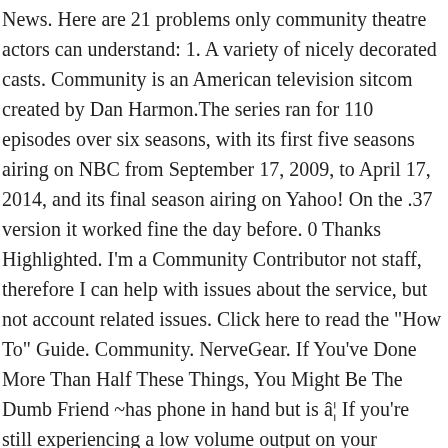News. Here are 21 problems only community theatre actors can understand: 1. A variety of nicely decorated casts. Community is an American television sitcom created by Dan Harmon.The series ran for 110 episodes over six seasons, with its first five seasons airing on NBC from September 17, 2009, to April 17, 2014, and its final season airing on Yahoo! On the .37 version it worked fine the day before. 0 Thanks Highlighted. I'm a Community Contributor not staff, therefore I can help with issues about the service, but not account related issues. Click here to read the "How To" Guide. Community. NerveGear. If You've Done More Than Half These Things, You Might Be The Dumb Friend ~has phone in hand but is â¦ If you're still experiencing a low volume output on your Chromecast products, we recommend you head to this Ongoing Issue to add your + VOTE and make sure to leave all the relevant information, so that the right folks can get to the bottom of this.. We'll be on the lookout for your replies ð Topic Options. willvincent 3 Posted February 2, 2019.